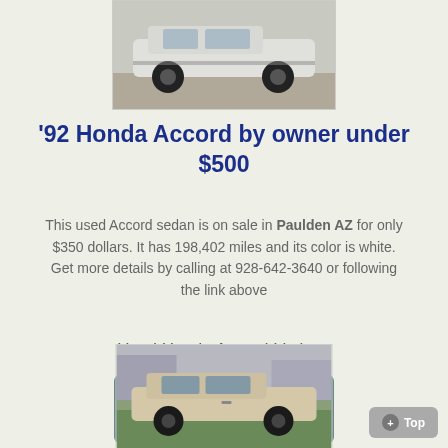[Figure (photo): Top portion of a white Honda Accord sedan viewed from the side, cropped showing mainly the rear half of the car on a dirt/gravel surface.]
'92 Honda Accord by owner under $500
This used Accord sedan is on sale in Paulden AZ for only $350 dollars. It has 198,402 miles and its color is white. Get more details by calling at 928-642-3640 or following the link above
Used Honda Accord Listings
SEDANS ON SALE ▶
[Figure (photo): A beige/tan Honda Accord sedan parked in a driveway or yard, viewed from a front-side angle.]